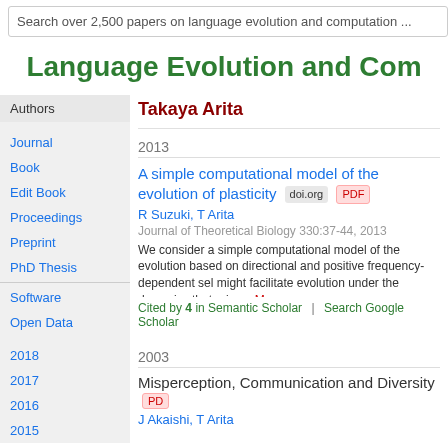Search over 2,500 papers on language evolution and computation ...
Language Evolution and Com
Authors
Journal
Book
Edit Book
Proceedings
Preprint
PhD Thesis
Software
Open Data
2018
2017
2016
2015
Takaya Arita
2013
A simple computational model of the evolution of plasticity doi.org PDF
R Suzuki, T Arita
Journal of Theoretical Biology 330:37-44, 2013
We consider a simple computational model of the evolution based on directional and positive frequency-dependent sel might facilitate evolution under the dynamics that arise ...
Cited by 4 in Semantic Scholar | Search Google Scholar
2003
Misperception, Communication and Diversity PDF
J Akaishi, T Arita